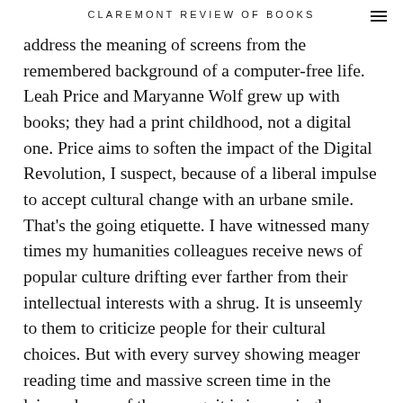CLAREMONT REVIEW OF BOOKS
address the meaning of screens from the remembered background of a computer-free life. Leah Price and Maryanne Wolf grew up with books; they had a print childhood, not a digital one. Price aims to soften the impact of the Digital Revolution, I suspect, because of a liberal impulse to accept cultural change with an urbane smile. That’s the going etiquette. I have witnessed many times my humanities colleagues receive news of popular culture drifting ever farther from their intellectual interests with a shrug. It is unseemly to them to criticize people for their cultural choices. But with every survey showing meager reading time and massive screen time in the leisure hours of the young, it is increasingly difficult not to share Wolf’s dismay.